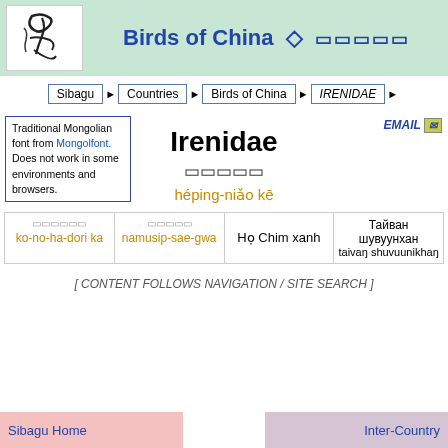Birds of China ◇
Sibagu ▶ Countries ▶ Birds of China ▶ IRENIDAE ▶
Traditional Mongolian font from Mongolfont. Does not work in some environments and browsers.
EMAIL
Irenidae
heping-niao ke
|  |  | Ho Chim xanh | Тайван шувуунхан |
| --- | --- | --- | --- |
| ko-no-ha-dori ka | namusip-sae-gwa | Họ Chim xanh | taivaŋ shuvuunikhaŋ |
[ CONTENT FOLLOWS NAVIGATION / SITE SEARCH ]
Sibagu Home    Inter-Country